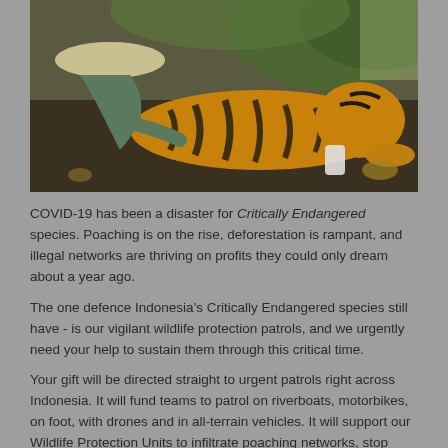[Figure (photo): A person in a bucket hat kneeling beside a tiger lying on the ground in a forested area. The scene appears to show wildlife conservation or veterinary work with a Critically Endangered tiger species.]
COVID-19 has been a disaster for Critically Endangered species. Poaching is on the rise, deforestation is rampant, and illegal networks are thriving on profits they could only dream about a year ago.
The one defence Indonesia's Critically Endangered species still have - is our vigilant wildlife protection patrols, and we urgently need your help to sustain them through this critical time.
Your gift will be directed straight to urgent patrols right across Indonesia. It will fund teams to patrol on riverboats, motorbikes, on foot, with drones and in all-terrain vehicles. It will support our Wildlife Protection Units to infiltrate poaching networks, stop illegal logging, and protect all wild species from deadly snares.